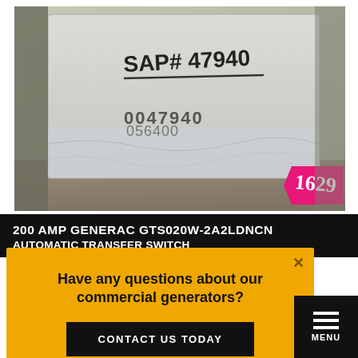[Figure (photo): Photo of a white metal electrical enclosure/panel in plastic wrap, with handwritten marker text 'SAP# 47940' and stamped/printed '0047940 056400', and a pink price tag showing '1629'.]
200 AMP GENERAC GTS020W-2A2LDNCN
AUTOMATIC TRANSFER SWITCH
Have any questions about our commercial generators?
CONTACT US TODAY